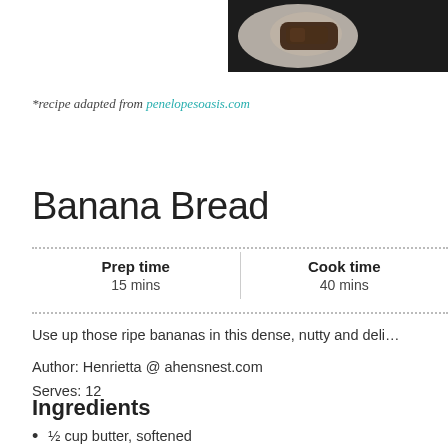[Figure (photo): Partial photo of food on a plate against dark background, upper right corner]
*recipe adapted from penelopesoasis.com
Banana Bread
| Prep time | Cook time |
| --- | --- |
| 15 mins | 40 mins |
Use up those ripe bananas in this dense, nutty and deli…
Author: Henrietta @ ahensnest.com
Serves: 12
Ingredients
½ cup butter, softened
¾ cup brown sugar